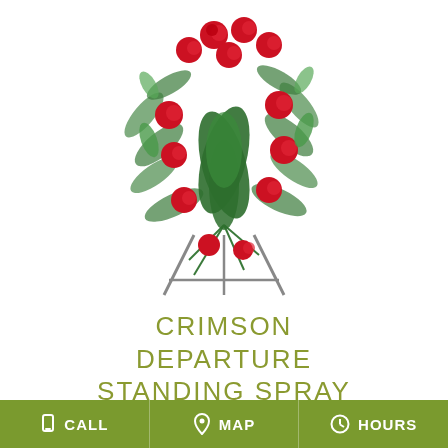[Figure (photo): A standing funeral spray arrangement with red roses and green foliage on a metal easel stand, displayed on a white background.]
CRIMSON DEPARTURE STANDING SPRAY
Shown at $250.00
CALL  MAP  HOURS